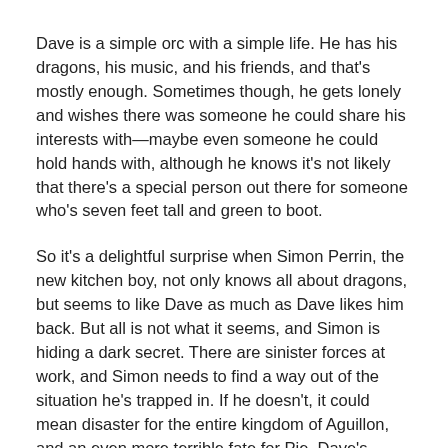Dave is a simple orc with a simple life. He has his dragons, his music, and his friends, and that's mostly enough. Sometimes though, he gets lonely and wishes there was someone he could share his interests with—maybe even someone he could hold hands with, although he knows it's not likely that there's a special person out there for someone who's seven feet tall and green to boot.
So it's a delightful surprise when Simon Perrin, the new kitchen boy, not only knows all about dragons, but seems to like Dave as much as Dave likes him back. But all is not what it seems, and Simon is hiding a dark secret. There are sinister forces at work, and Simon needs to find a way out of the situation he's trapped in. If he doesn't, it could mean disaster for the entire kingdom of Aguillon, and an even more terrible fate for Pie, Dave's beloved fingerdragon.
When Dave discovers Simon and Pie are in danger, he's